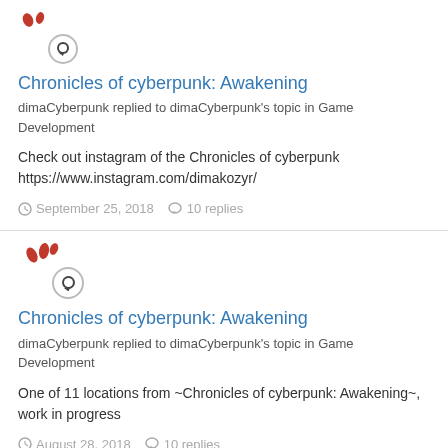[Figure (illustration): Red decorative avatar icon with speech bubble overlay]
Chronicles of cyberpunk: Awakening
dimaCyberpunk replied to dimaCyberpunk's topic in Game Development
Check out instagram of the Chronicles of cyberpunk https://www.instagram.com/dimakozyr/
September 25, 2018  10 replies
[Figure (illustration): Red decorative avatar icon with speech bubble overlay]
Chronicles of cyberpunk: Awakening
dimaCyberpunk replied to dimaCyberpunk's topic in Game Development
One of 11 locations from ~Chronicles of cyberpunk: Awakening~, work in progress
August 28, 2018  10 replies
[Figure (illustration): Partial red decorative avatar icon at bottom]